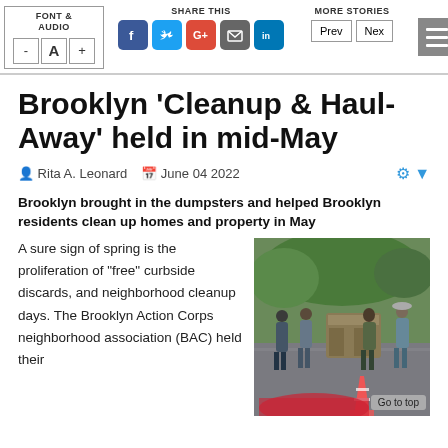FONT & AUDIO | SHARE THIS | MORE STORIES | Prev | Next
Brooklyn 'Cleanup & Haul-Away' held in mid-May
Rita A. Leonard   June 04 2022
Brooklyn brought in the dumpsters and helped Brooklyn residents clean up homes and property in May
A sure sign of spring is the proliferation of "free" curbside discards, and neighborhood cleanup days. The Brooklyn Action Corps neighborhood association (BAC) held their
[Figure (photo): Outdoor community cleanup event scene with several people standing near a dumpster on a wet pavement, surrounded by green trees. An orange traffic cone is visible in the foreground.]